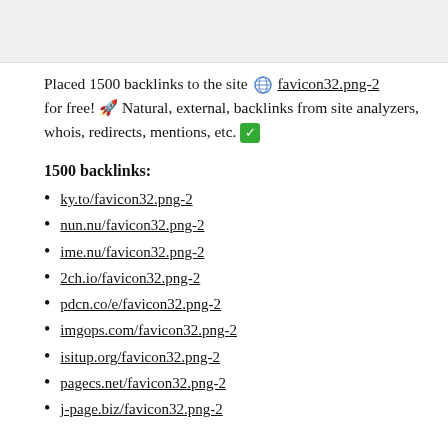Placed 1500 backlinks to the site 🌐 favicon32.png-2 for free! 🚀 Natural, external, backlinks from site analyzers, whois, redirects, mentions, etc. ✅
1500 backlinks:
ky.to/favicon32.png-2
nun.nu/favicon32.png-2
ime.nu/favicon32.png-2
2ch.io/favicon32.png-2
pdcn.co/e/favicon32.png-2
imgops.com/favicon32.png-2
isitup.org/favicon32.png-2
pagecs.net/favicon32.png-2
j-page.biz/favicon32.png-2